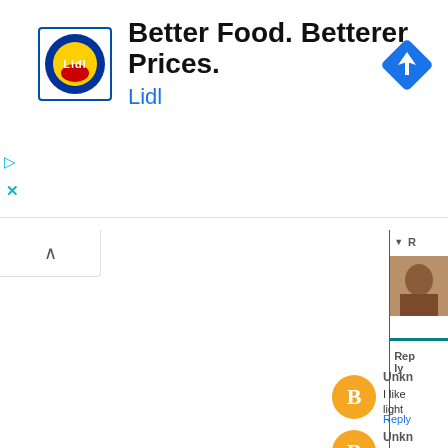[Figure (screenshot): Lidl advertisement banner with logo, headline 'Better Food. Betterer Prices.', brand name 'Lidl', and a blue navigation/directions icon on the right]
Better Food. Betterer Prices.
Lidl
[Figure (screenshot): Blog comment section partially visible on the right side. Contains an up-arrow button, a profile photo thumbnail, a teal divider line, a 'Reply' button, an 'Unknown' user comment with Blogger orange icon showing 'I like... light...' text and a Reply link, and a second 'Unknown' user comment partially visible.]